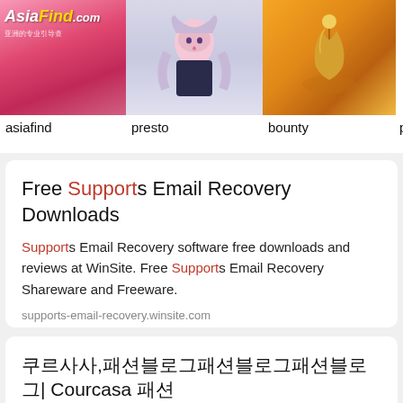[Figure (screenshot): Three thumbnail images in a row: asiafind (pink/red background with logo), presto (anime character), bounty (golden/warm scene). Labels below each image.]
asiafind   presto   bounty   p
Free Supports Email Recovery Downloads
Supports Email Recovery software free downloads and reviews at WinSite. Free Supports Email Recovery Shareware and Freeware.
supports-email-recovery.winsite.com
쿠르사사,패션블로그패션블로그패션블로그| Courcasa 패션
패션블로그패션블로그패션블로그 lamaisondannag.blogspot.fr The Style Files 패션블로그패션블로그Le Souk패션블로그Danielle,패션블로그패션블로그패션블로그,패션블로그,패션블로그...
courcasa.com  2019년10월15일